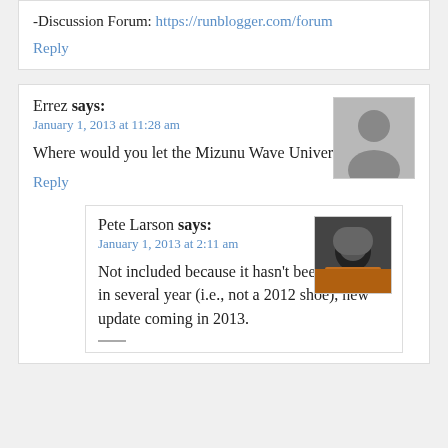-Discussion Forum: https://runblogger.com/forum
Reply
Errez says:
January 1, 2013 at 11:28 am
Where would you let the Mizunu Wave Universe end up?
Reply
Pete Larson says:
January 1, 2013 at 2:11 am
Not included because it hasn't been updated in several year (i.e., not a 2012 shoe), new update coming in 2013.